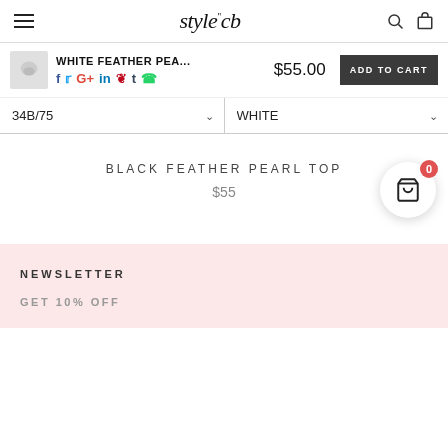style'cb — site header with hamburger menu, logo, search and bag icons
WHITE FEATHER PEA... $55.00 ADD TO CART
34B/75  WHITE
BLACK FEATHER PEARL TOP
$55
NEWSLETTER
GET 10% OFF